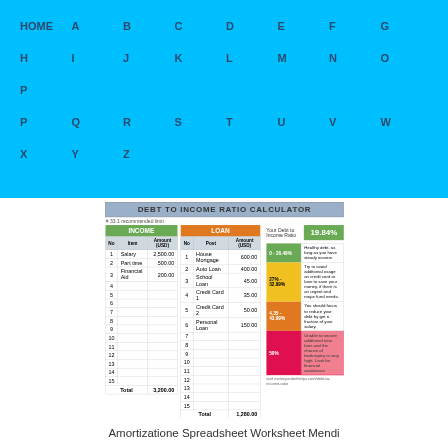HOME A B C D E F G H I J K L M N O P Q R S T U V W X Y Z
[Figure (screenshot): Debt to Income Ratio Calculator spreadsheet showing income table (Salary 2,500.00, Part time 500.00, Financial Aid 200.00, Total 3,200.00) and loan table (House Mortgage 600.00, Auto Loan 400.00, School Loan 45.00, Credit Card 1 35.00, Credit Card 2 50.00, Personal Loan 150.00, Total 1,280.00) with DTI result of 19.84% and color-coded bands]
Amortizatione Spreadsheet Worksheet Mendi